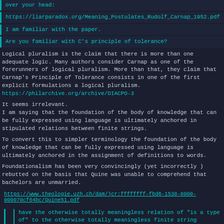over your head:
https://liarparadox.org/Meaning_Postulates_Rudolf_Carnap_1952.pdf
I am familiar with the paper.
Are you familiar with C's principle of tolerance?
Logical pluralism is the claim that there is more than one adequate logic. Many authors consider Carnap as one of the forerunners of logical pluralism. More than that, they claim that Carnap's Principle of Tolerance consists in one of the first explicit formulations a logical pluralism. https://philarchive.org/archive/DIACPO-3
It seems irrelevant.
I am saying that the foundation of the body of knowledge that can be fully expressed using language is ultimately anchored in stipulated relations between finite strings.
To convert this to simpler terminology the foundation of the body of knowledge that can be fully expressed using language is ultimately anchored in the assignment of definitions to words.
Foundationalism has been very convincingly (yet incorrectly ) rebutted on the basis that Quine was unable to comprehend that bachelors are unmarried.
https://www.theologie.uzh.ch/dam/jcr:ffffffff-fbd6-1538-0000-000070cf64bc/Quine51.pdf
have the otherwise totally meaningless relation of "is a type of" to the otherwise totally meaningless finite string "animal".